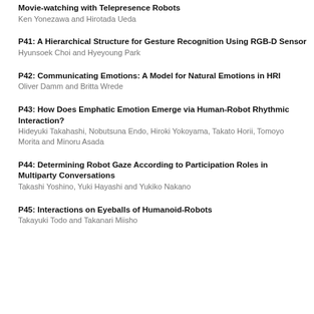Movie-watching with Telepresence Robots
Ken Yonezawa and Hirotada Ueda
P41: A Hierarchical Structure for Gesture Recognition Using RGB-D Sensor
Hyunsoek Choi and Hyeyoung Park
P42: Communicating Emotions: A Model for Natural Emotions in HRI
Oliver Damm and Britta Wrede
P43: How Does Emphatic Emotion Emerge via Human-Robot Rhythmic Interaction?
Hideyuki Takahashi, Nobutsuna Endo, Hiroki Yokoyama, Takato Horii, Tomoyo Morita and Minoru Asada
P44: Determining Robot Gaze According to Participation Roles in Multiparty Conversations
Takashi Yoshino, Yuki Hayashi and Yukiko Nakano
P45: Interactions on Eyeballs of Humanoid-Robots
Takayuki Todo and Takanari Miisho